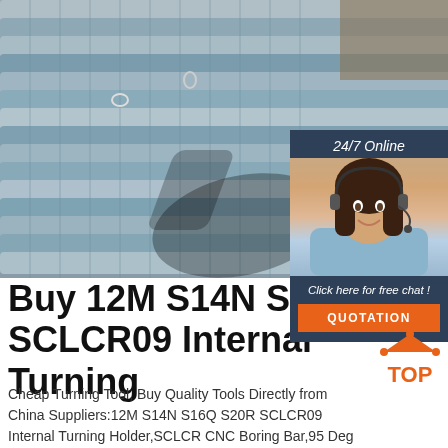[Figure (photo): Photo of bundled steel rebar/reinforcing bars stacked diagonally, grey metallic with ribbed texture. A shadow of a person is cast on the bars.]
[Figure (photo): Sidebar panel with dark navy background showing a female customer service agent wearing a headset, smiling. Dark blue header reads '24/7 Online', below agent photo text reads 'Click here for free chat!' and an orange button reads 'QUOTATION'.]
Buy 12M S14N S16Q S-SCLCR09 Internal Turning
Cheap Turning Tool, Buy Quality Tools Directly from China Suppliers:12M S14N S16Q S20R SCLCR09 Internal Turning Holder,SCLCR CNC Boring Bar,95 Deg Lathe tool for CCMT09T304 or
[Figure (logo): Orange 'TOP' logo badge with triangular arrow pointing up, orange dots at top corners.]